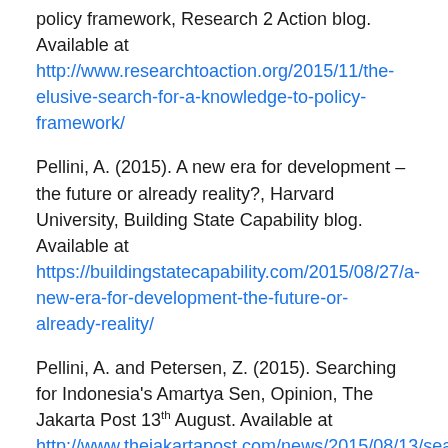policy framework, Research 2 Action blog. Available at http://www.researchtoaction.org/2015/11/the-elusive-search-for-a-knowledge-to-policy-framework/
Pellini, A. (2015). A new era for development – the future or already reality?, Harvard University, Building State Capability blog. Available at https://buildingstatecapability.com/2015/08/27/a-new-era-for-development-the-future-or-already-reality/
Pellini, A. and Petersen, Z. (2015). Searching for Indonesia's Amartya Sen, Opinion, The Jakarta Post 13th August. Available at http://www.thejakartapost.com/news/2015/08/13/searching-indonesia-s-amartya-sen.html#sthash.lsT83bBm.uxfs
Pellini, A. and Petersen, Z. (2015). Searching for